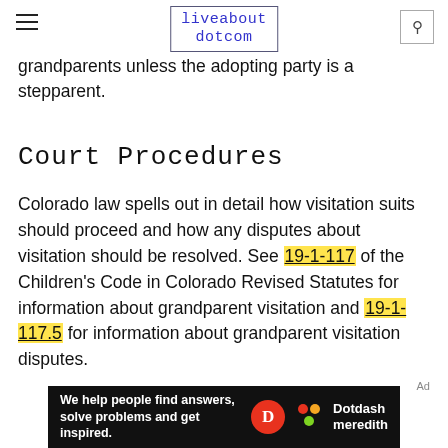liveabout dotcom
grandparents unless the adopting party is a stepparent.
Court Procedures
Colorado law spells out in detail how visitation suits should proceed and how any disputes about visitation should be resolved. See 19-1-117 of the Children’s Code in Colorado Revised Statutes for information about grandparent visitation and 19-1-117.5 for information about grandparent visitation disputes.
[Figure (other): Dotdash Meredith advertisement banner: 'We help people find answers, solve problems and get inspired.' with Dotdash Meredith logo]